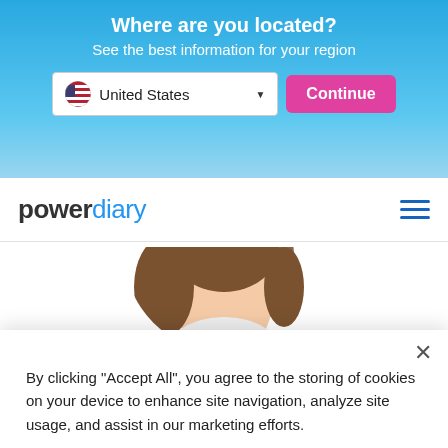Where are you located?
See the best information for your region
[Figure (screenshot): Location selector with United States flag and dropdown, plus a pink Continue button]
[Figure (logo): Power Diary logo with hamburger menu icon]
[Figure (photo): Partial profile photo of a person with brown hair]
“Great customizable practice
By clicking “Accept All”, you agree to the storing of cookies on your device to enhance site navigation, analyze site usage, and assist in our marketing efforts.
Accept All
Cookie Settings